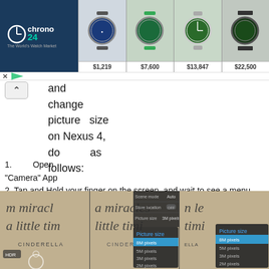[Figure (screenshot): Chrono24 advertisement banner showing watch marketplace with four watch images priced at $1,219, $7,600, $13,847, $22,500]
and change picture size on Nexus 4, do as follows:
1.       Open "Camera" App
2. Tap and Hold your finger on the screen, and wait to see a menu
3. Move your finger to the Settings icon and release your finger
4. Select "Picture Size"
5. Choose one of these picture sizes: QVGA, VGA, 1.3M pixels, 2Mp, 3Mp, 5Mp, 8Mp
[Figure (screenshot): Three screenshots showing camera app on Nexus 4 with picture size settings menu showing 8M pixels, 5M pixels, 3M pixels, 2M pixels options, Scene mode Auto, Store location OFF, Picture size 3M pixels]